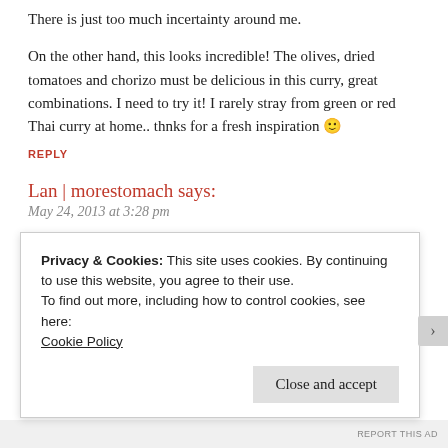There is just too much incertainty around me.
On the other hand, this looks incredible! The olives, dried tomatoes and chorizo must be delicious in this curry, great combinations. I need to try it! I rarely stray from green or red Thai curry at home.. thnks for a fresh inspiration 🙂
REPLY
Lan | morestomach says:
May 24, 2013 at 3:28 pm
oh sophie, i hope things brighten up for you!
i also enjoy green or red curries and what drew me to this
Privacy & Cookies: This site uses cookies. By continuing to use this website, you agree to their use.
To find out more, including how to control cookies, see here:
Cookie Policy
Close and accept
REPORT THIS AD